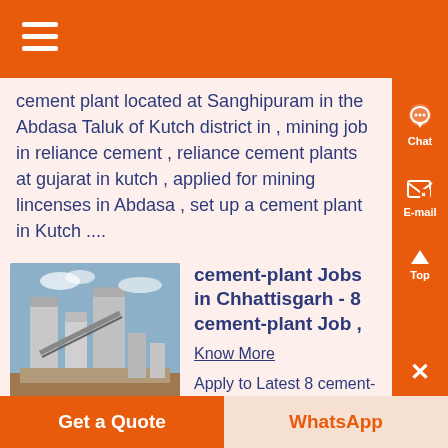cement plant located at Sanghipuram in the Abdasa Taluk of Kutch district in , mining job in reliance cement , reliance cement plants at gujarat in kutch , applied for mining lincenses in Abdasa , set up a cement plant in Kutch ....
cement-plant Jobs in Chhattisgarh - 8 cement-plant Job ,
Know More
Apply to Latest 8 cement-plant
[Figure (photo): Industrial cement plant with large silos and conveyor equipment under a cloudy sky]
Get a Quote
WhatsApp